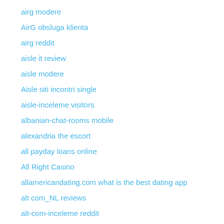airg modere
AirG obsluga klienta
airg reddit
aisle it review
aisle modere
Aisle siti incontri single
aisle-inceleme visitors
albanian-chat-rooms mobile
alexandria the escort
all payday loans online
All Right Casino
allamericandating.com what is the best dating app
alt com_NL reviews
alt-com-inceleme reddit
alt-com-inceleme reviews